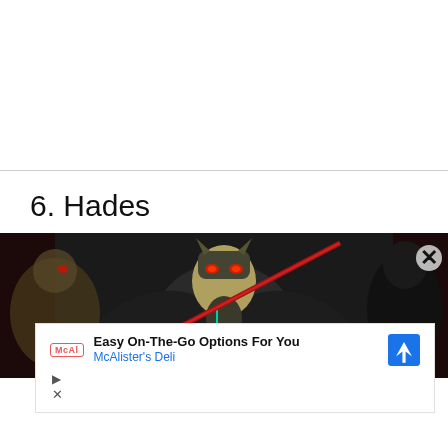6. Hades
[Figure (illustration): Anime screenshot showing a dark armored character with glowing red eyes holding a sword, against a dark background. A white advertisement overlay is partially covering the bottom portion of the image showing 'Easy On-The-Go Options For You - McAlister's Deli' with a McAl logo and a navigation arrow icon. Below the ad overlay are playback and close control buttons.]